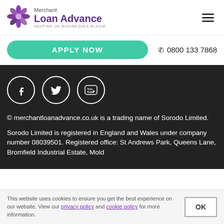[Figure (logo): Merchant Loan Advance logo with purple flower and text 'Merchant Loan Advance - Helping UK Businesses Bloom']
APPLY NOW
0800 133 7868
[Figure (illustration): Social media icons: Facebook, Twitter, YouTube - white circles on dark background]
© merchantloanadvance.co.uk is a trading name of Sorodo Limited.
Sorodo Limited is registered in England and Wales under company number 08039501. Registered office: St Andrews Park, Queens Lane, Bromfield Industrial Estate, Mold
This website uses cookies to ensure you get the best experience on our website. View our privacy policy and cookie policy for more information.